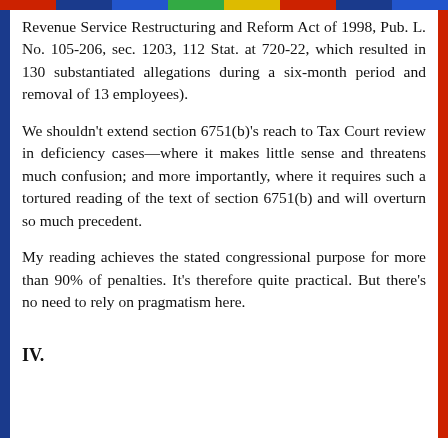Revenue Service Restructuring and Reform Act of 1998, Pub. L. No. 105-206, sec. 1203, 112 Stat. at 720-22, which resulted in 130 substantiated allegations during a six-month period and removal of 13 employees).
We shouldn't extend section 6751(b)'s reach to Tax Court review in deficiency cases—where it makes little sense and threatens much confusion; and more importantly, where it requires such a tortured reading of the text of section 6751(b) and will overturn so much precedent.
My reading achieves the stated congressional purpose for more than 90% of penalties. It's therefore quite practical. But there's no need to rely on pragmatism here.
IV.